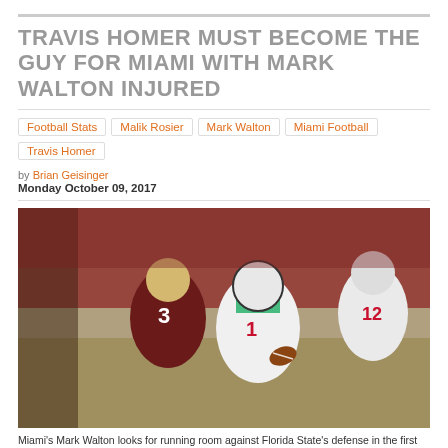TRAVIS HOMER MUST BECOME THE GUY FOR MIAMI WITH MARK WALTON INJURED
Football Stats
Malik Rosier
Mark Walton
Miami Football
Travis Homer
by Brian Geisinger
Monday October 09, 2017
[Figure (photo): Miami's Mark Walton runs with the football against Florida State's defense. Miami player #1 in white uniform with green and orange stripes carries the ball, pursued by FSU player #3 in garnet uniform. Another Miami player #12 is visible at right.]
Miami's Mark Walton looks for running room against Florida State's defense in the first quarter of an NCAA college football game, Saturday, Oct. 7, 2017, in Tallahassee,